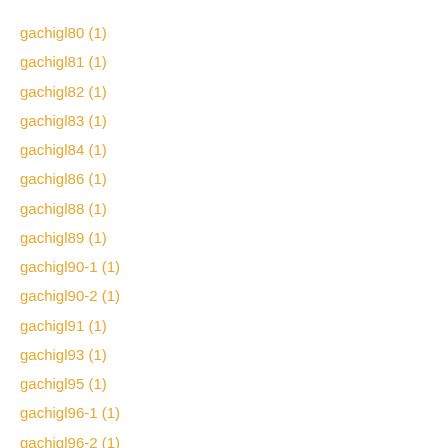gachigl80 (1)
gachigl81 (1)
gachigl82 (1)
gachigl83 (1)
gachigl84 (1)
gachigl86 (1)
gachigl88 (1)
gachigl89 (1)
gachigl90-1 (1)
gachigl90-2 (1)
gachigl91 (1)
gachigl93 (1)
gachigl95 (1)
gachigl96-1 (1)
gachigl96-2 (1)